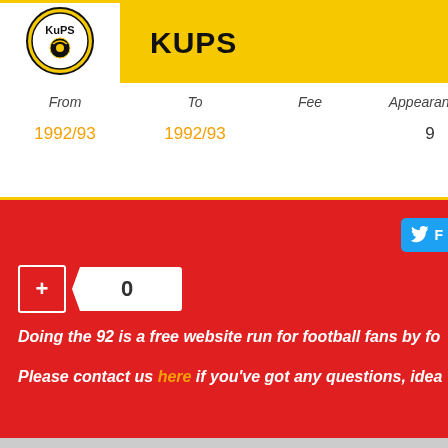[Figure (logo): KuPS football club logo - circular badge with KuPS text and football]
KUPS
| From | To | Fee | Appearances | Goals |
| --- | --- | --- | --- | --- |
| 1992/93 | 1992/93 |  | 9 | 0 |
Doing the 92 is a free website run for football fans by fo
Please contact us here if you've got any questions, idea